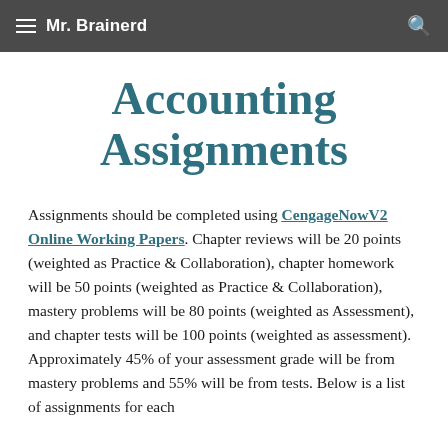Mr. Brainerd
Accounting Assignments
Assignments should be completed using CengageNowV2 Online Working Papers. Chapter reviews will be 20 points (weighted as Practice & Collaboration), chapter homework will be 50 points (weighted as Practice & Collaboration), mastery problems will be 80 points (weighted as Assessment), and chapter tests will be 100 points (weighted as assessment). Approximately 45% of your assessment grade will be from mastery problems and 55% will be from tests. Below is a list of assignments for each